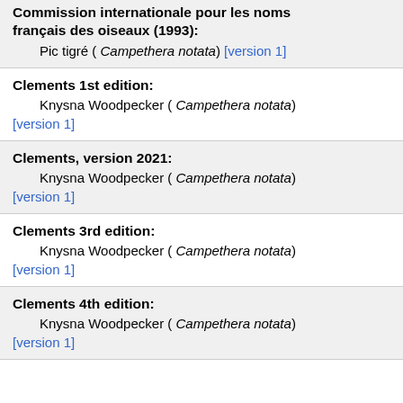Commission internationale pour les noms français des oiseaux (1993):
Pic tigré ( Campethera notata) [version 1]
Clements 1st edition:
Knysna Woodpecker ( Campethera notata) [version 1]
Clements, version 2021:
Knysna Woodpecker ( Campethera notata) [version 1]
Clements 3rd edition:
Knysna Woodpecker ( Campethera notata) [version 1]
Clements 4th edition:
Knysna Woodpecker ( Campethera notata) [version 1]